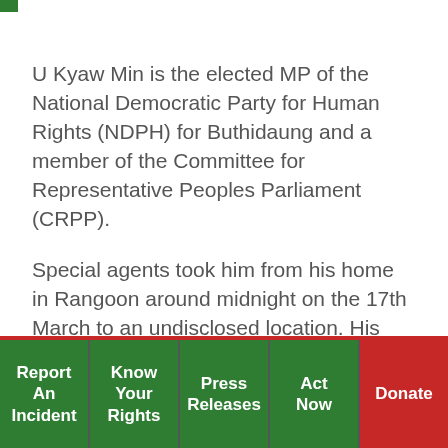U Kyaw Min is the elected MP of the National Democratic Party for Human Rights (NDPH) for Buthidaung and a member of the Committee for Representative Peoples Parliament (CRPP).
Special agents took him from his home in Rangoon around midnight on the 17th March to an undisclosed location. His wife and two grown up daughters were also arrested for their stay in Rangoon. His lawyer, relatives and friends of U Kyaw Min have all been denied permission to visit him. It is still not known why Kyaw Min was arrested
Report An Incident | Know Your Rights | Press Releases | Act Now | Donate